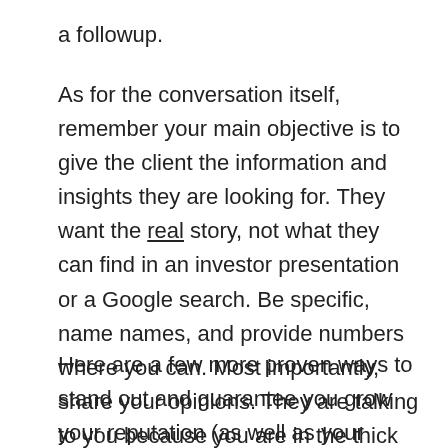a followup.
As for the conversation itself, remember your main objective is to give the client the information and insights they are looking for. They want the real story, not what they can find in an investor presentation or a Google search. Be specific, name names, and provide numbers where you can. Most importantly, share your opinions. They are talking to you because you are in the thick of things, so don't hold back on what you think is going to be a huge success, or why something is doomed to fail.
Here are a few more proven ways to stand out and guarantee you grow your reputation (as well as your earning potential):